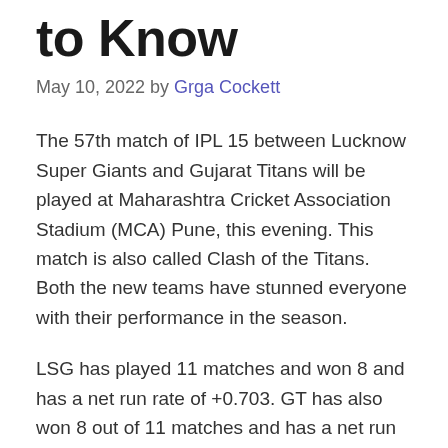to Know
May 10, 2022 by Grga Cockett
The 57th match of IPL 15 between Lucknow Super Giants and Gujarat Titans will be played at Maharashtra Cricket Association Stadium (MCA) Pune, this evening. This match is also called Clash of the Titans. Both the new teams have stunned everyone with their performance in the season.
LSG has played 11 matches and won 8 and has a net run rate of +0.703. GT has also won 8 out of 11 matches and has a net run rate of +0.120. Gujarat has lost the last 2